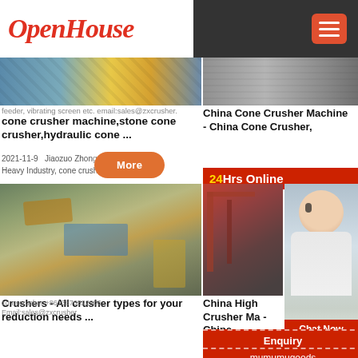OpenHouse
[Figure (photo): Industrial crusher/feeder machinery with yellow metal scaffolding]
cone crusher feeder, vibrating screen machine,stone cone etc.email:sales@zxcrusher.
cone crusher machine,stone cone crusher,hydraulic cone ...
2021-11-9   Jiaozuo Zhongxin Heavy Industry, cone crusher
[Figure (photo): Industrial quarry site with construction equipment and blue structures]
Crushers - All crusher types for your reduction needs ...
cone crusher +8613676522906. Email:sales@zxcrusher.
[Figure (photo): Industrial factory/plant with grey metallic structures]
China Cone Crusher Machine - China Cone Crusher,
China Cone  Find details a
[Figure (photo): Industrial loading machinery - red metallic crane structures]
China High Crusher Ma - China ...
[Figure (photo): Customer service agent - woman with headset smiling]
Need questions & suggestion?
Chat Now
Enquiry
mumumugoods